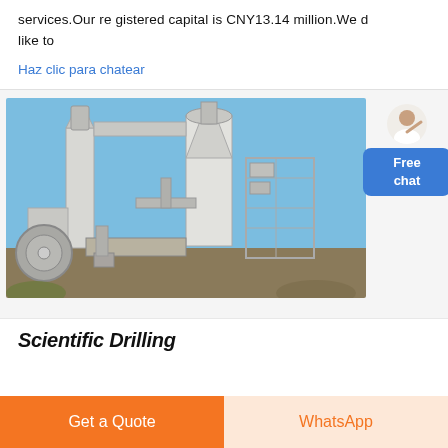services.Our registered capital is CNY13.14 million.We d like to
Haz clic para chatear
[Figure (photo): Industrial grinding/milling machinery with large cyclone separators and structural steel framework, photographed outdoors against a blue sky.]
Scientific Drilling
Get a Quote
WhatsApp